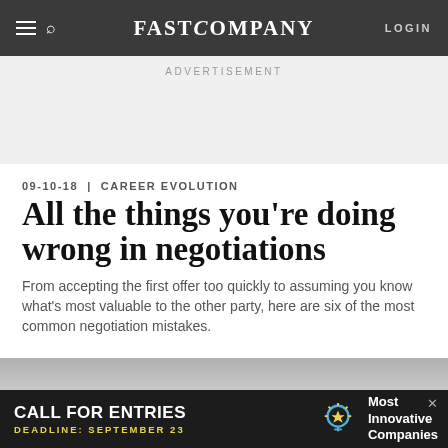FAST COMPANY — LOGIN
ADVERTISEMENT
09-10-18 | CAREER EVOLUTION
All the things you're doing wrong in negotiations
From accepting the first offer too quickly to assuming you know what's most valuable to the other party, here are six of the most common negotiation mistakes.
[Figure (photo): Partial image strip at the bottom of the article]
[Figure (infographic): Bottom advertisement banner: CALL FOR ENTRIES, DEADLINE: SEPTEMBER 23, Most Innovative Companies]